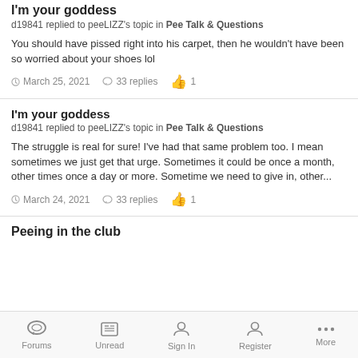I'm your goddess
d19841 replied to peeLIZZ's topic in Pee Talk & Questions
You should have pissed right into his carpet, then he wouldn't have been so worried about your shoes lol
March 25, 2021   33 replies   1
I'm your goddess
d19841 replied to peeLIZZ's topic in Pee Talk & Questions
The struggle is real for sure! I've had that same problem too. I mean sometimes we just get that urge. Sometimes it could be once a month, other times once a day or more. Sometime we need to give in, other...
March 24, 2021   33 replies   1
Peeing in the club
Forums   Unread   Sign In   Register   More